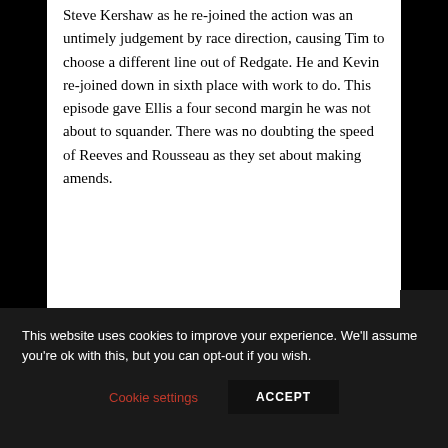Steve Kershaw as he re-joined the action was an untimely judgement by race direction, causing Tim to choose a different line out of Redgate. He and Kevin re-joined down in sixth place with work to do. This episode gave Ellis a four second margin he was not about to squander. There was no doubting the speed of Reeves and Rousseau as they set about making amends.
This website uses cookies to improve your experience. We'll assume you're ok with this, but you can opt-out if you wish.
Cookie settings
ACCEPT